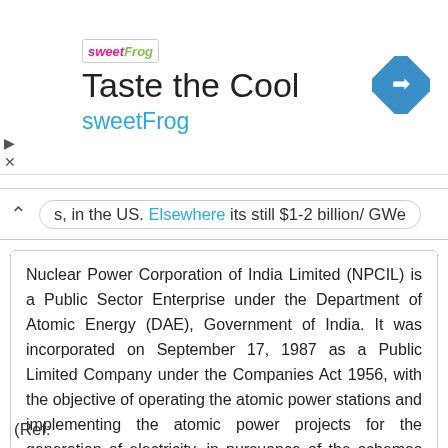[Figure (logo): sweetFrog advertisement banner with logo text, 'Taste the Cool' title, 'sweetFrog' subtitle in blue, and a blue diamond navigation icon on the right]
s, in the US. Elsewhere its still $1-2 billion/ GWe
Nuclear Power Corporation of India Limited (NPCIL) is a Public Sector Enterprise under the Department of Atomic Energy (DAE), Government of India. It was incorporated on September 17, 1987 as a Public Limited Company under the Companies Act 1956, with the objective of operating the atomic power stations and implementing the atomic power projects for the generation of electricity, in pursuance of the schemes and programmes of Government of India under the Atomic Energy Act
(Ref: